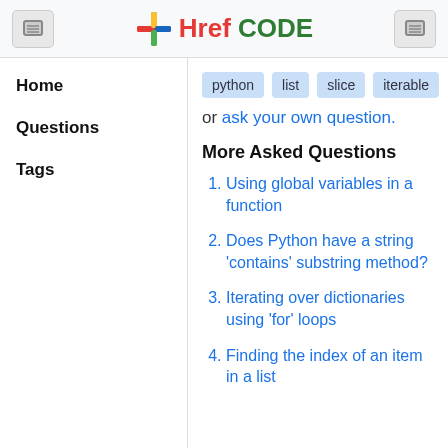HrefCODE
Home
Questions
Tags
python  list  slice  iterable
or ask your own question.
More Asked Questions
Using global variables in a function
Does Python have a string 'contains' substring method?
Iterating over dictionaries using 'for' loops
Finding the index of an item in a list